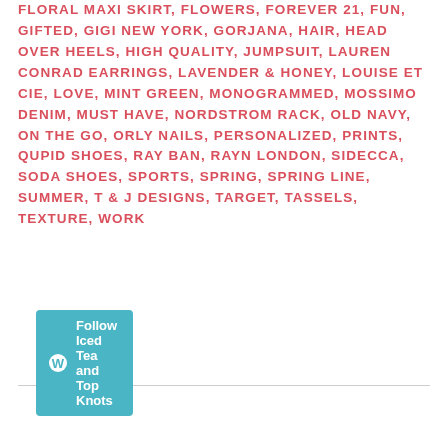FLORAL MAXI SKIRT, FLOWERS, FOREVER 21, FUN, GIFTED, GIGI NEW YORK, GORJANA, HAIR, HEAD OVER HEELS, HIGH QUALITY, JUMPSUIT, LAUREN CONRAD EARRINGS, LAVENDER & HONEY, LOUISE ET CIE, LOVE, MINT GREEN, MONOGRAMMED, MOSSIMO DENIM, MUST HAVE, NORDSTROM RACK, OLD NAVY, ON THE GO, ORLY NAILS, PERSONALIZED, PRINTS, QUPID SHOES, RAY BAN, RAYN LONDON, SIDECCA, SODA SHOES, SPORTS, SPRING, SPRING LINE, SUMMER, T & J DESIGNS, TARGET, TASSELS, TEXTURE, WORK
Follow Iced Tea and Top Knots